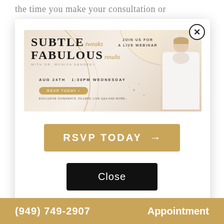the time you make your consultation or
[Figure (infographic): Webinar promotional banner for 'Subtle Tweaks Fabulous Results' with Dr. Monica Kennedy, showing event date AUG 24TH 1:30PM WEDNESDAY, RSVP TODAY button, and a photo of a female doctor in white coat on a gold/cream background with circular design elements.]
[Figure (other): Close/dismiss X button (circle with X) in top right corner of modal]
RSVP TODAY →
Close
(949) 749-2907    Appointment